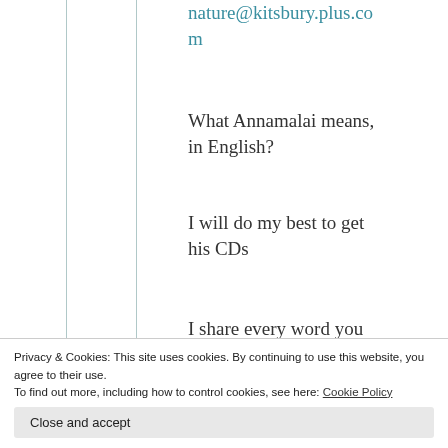nature@kitsbury.plus.com
What Annamalai means, in English?
I will do my best to get his CDs
I share every word you wrote. THANK YOU.
My name is Joanna,
Privacy & Cookies: This site uses cookies. By continuing to use this website, you agree to their use. To find out more, including how to control cookies, see here: Cookie Policy
Close and accept